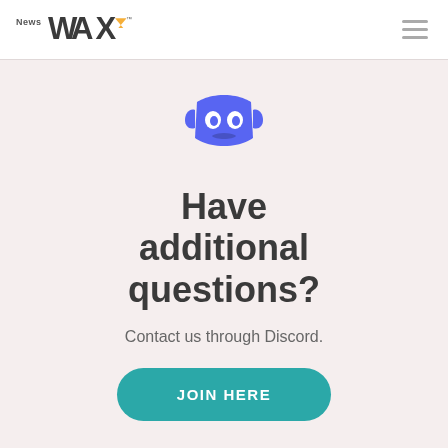News WAX
[Figure (logo): Discord logo - purple robot face icon]
Have additional questions?
Contact us through Discord.
JOIN HERE